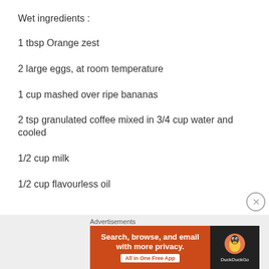Wet ingredients :
1 tbsp Orange zest
2 large eggs, at room temperature
1 cup mashed over ripe bananas
2 tsp granulated coffee mixed in 3/4 cup water and cooled
1/2 cup milk
1/2 cup flavourless oil
Advertisements — DuckDuckGo: Search, browse, and email with more privacy. All in One Free App